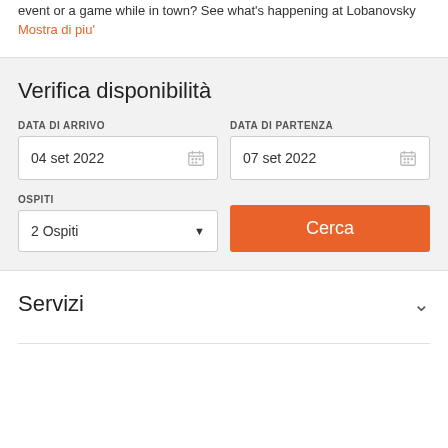event or a game while in town? See what's happening at Lobanovsky
Mostra di piu'
Verifica disponibilità
DATA DI ARRIVO
04 set 2022
DATA DI PARTENZA
07 set 2022
OSPITI
2 Ospiti
Cerca
Servizi